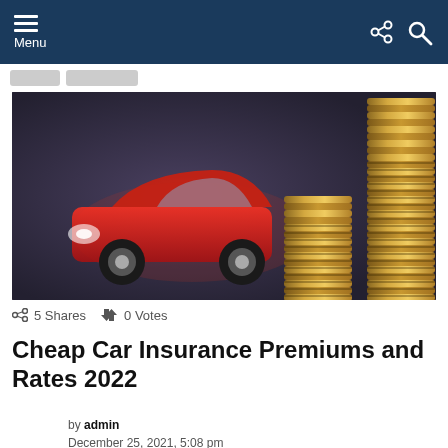Menu
[Figure (photo): A red toy car sits in the background with two tall stacks of gold coins in the foreground against a dark grey-blue background, representing car insurance costs.]
5 Shares  0 Votes
Cheap Car Insurance Premiums and Rates 2022
by admin
December 25, 2021, 5:08 pm